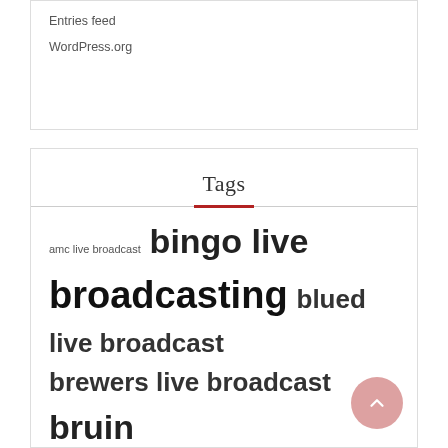Entries feed
WordPress.org
Tags
amc live broadcast bingo live broadcasting blued live broadcast brewers live broadcast bruin broadcast live canucks live broadcast ces live broadcast cfl live broadcast champions live broadcast chargers broadcast live